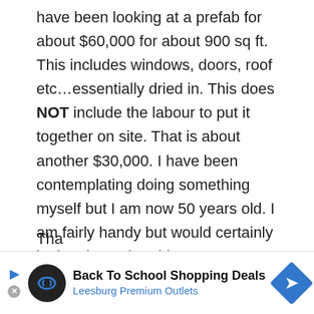have been looking at a prefab for about $60,000 for about 900 sq ft. This includes windows, doors, roof etc…essentially dried in. This does NOT include the labour to put it together on site. That is about another $30,000. I have been contemplating doing something myself but I am now 50 years old. I am fairly handy but would certainly look to have the old structure torn down and taken away and the ground leveled. We have hydro on site with septic as well. Do you think this is something that could be done with some help of course but looking to keep budget in mind as well. I have a good variety of power tool already and would happily add a STIHL chainsaw to the mix 🙂
Thoughts?
Tha...
[Figure (infographic): Advertisement banner for Back To School Shopping Deals at Leesburg Premium Outlets, with a circular logo, play button, close button, and a blue diamond arrow icon.]